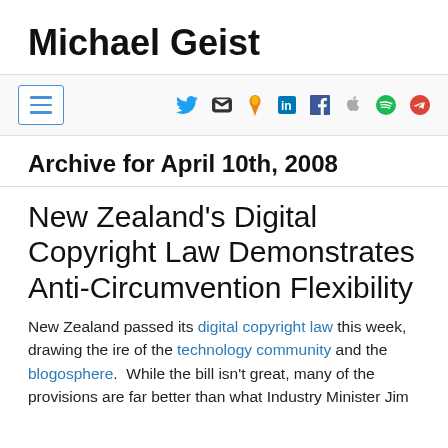Michael Geist
[Figure (other): Navigation bar with hamburger menu icon and social media icons: Twitter, email, fire/RSS, LinkedIn, Facebook, Apple, Spotify, Google+]
Archive for April 10th, 2008
New Zealand’s Digital Copyright Law Demonstrates Anti-Circumvention Flexibility
New Zealand passed its digital copyright law this week, drawing the ire of the technology community and the blogosphere.  While the bill isn't great, many of the provisions are far better than what Industry Minister Jim